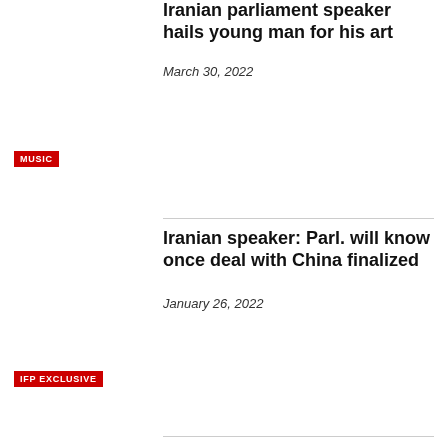Iranian parliament speaker hails young man for his art
March 30, 2022
MUSIC
Iranian speaker: Parl. will know once deal with China finalized
January 26, 2022
IFP EXCLUSIVE
Iran speaker offers Christmas greetings to counterparts
December 25, 2021
RELIGION